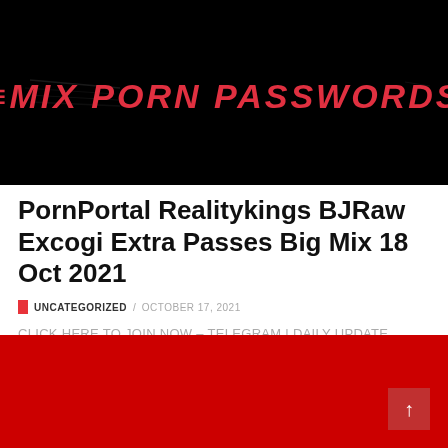[Figure (logo): Mix Porn Passwords logo — red italic bold text on black background with speed lines]
PornPortal Realitykings BJRaw Excogi Extra Passes Big Mix 18 Oct 2021
UNCATEGORIZED / OCTOBER 17, 2021
CLICK HERE TO JOIN NOW – TELEGRAM | DAILY UPDATE GROUP| FREE PASSWORDS | MANY MORE CLICK HERE...
[Figure (other): Red banner background at bottom of page with scroll-to-top button]